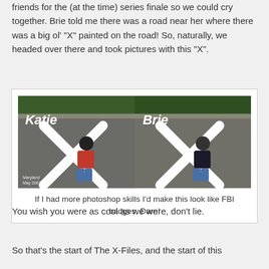friends for the (at the time) series finale so we could cry together. Brie told me there was a road near her where there was a big ol' "X" painted on the road! So, naturally, we headed over there and took pictures with this "X".
[Figure (photo): Two side-by-side photos of two women (Katie on left, Brie on right) posing on a road with a large white X painted on it. Text overlay reads 'Katie' and 'Brie' respectively. Bottom left of left photo reads 'Maryland May 2001'.]
If I had more photoshop skills I'd make this look like FBI badges. Darn!
You wish you were as cool as we were, don't lie.
So that's the start of The X-Files, and the start of this